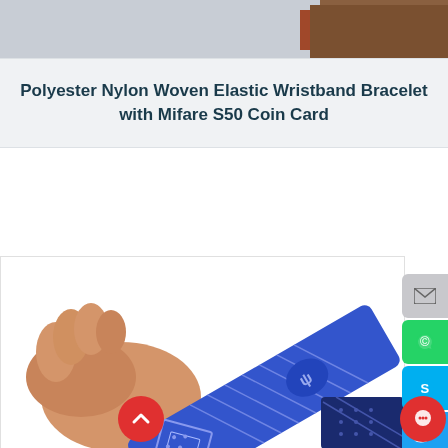[Figure (photo): Top strip showing partial product photo background]
Polyester Nylon Woven Elastic Wristband Bracelet with Mifare S50 Coin Card
[Figure (photo): Hand holding a blue PlayStation-branded woven elastic wristband/bracelet with diamond pattern. Social sharing buttons (email, WhatsApp, Skype, Twitter, Facebook, share) visible on the right side. Back-to-top button (red circle with up arrow) and chat button (red circle) at bottom.]